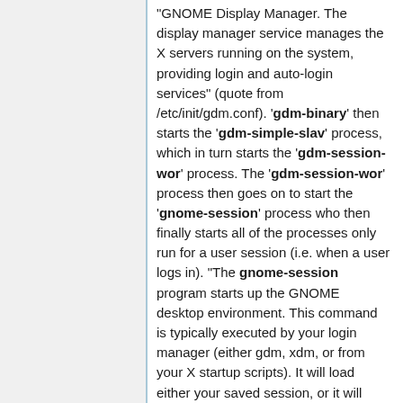"GNOME Display Manager. The display manager service manages the X servers running on the system, providing login and auto-login services" (quote from /etc/init/gdm.conf). 'gdm-binary' then starts the 'gdm-simple-slav' process, which in turn starts the 'gdm-session-wor' process. The 'gdm-session-wor' process then goes on to start the 'gnome-session' process who then finally starts all of the processes only run for a user session (i.e. when a user logs in). "The gnome-session program starts up the GNOME desktop environment. This command is typically executed by your login manager (either gdm, xdm, or from your X startup scripts). It will load either your saved session, or it will provide a default session for the user as defined by the system administrator (or